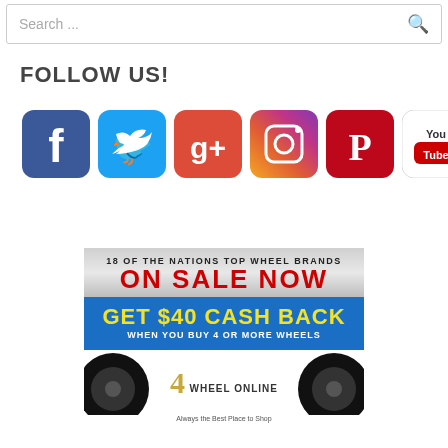Search ...
FOLLOW US!
[Figure (illustration): Row of social media icons: Facebook, Twitter, Google+, Instagram, Pinterest, YouTube]
[Figure (infographic): Advertisement banner: '18 OF THE NATIONS TOP WHEEL BRANDS ON SALE NOW' with 'GET $40 CASH BACK WHEN YOU BUY 4 OR MORE WHEELS' and 4 Wheel Online logo with black wheels]